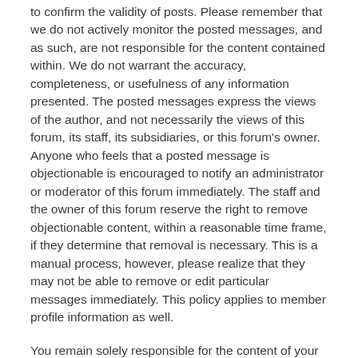to confirm the validity of posts. Please remember that we do not actively monitor the posted messages, and as such, are not responsible for the content contained within. We do not warrant the accuracy, completeness, or usefulness of any information presented. The posted messages express the views of the author, and not necessarily the views of this forum, its staff, its subsidiaries, or this forum's owner. Anyone who feels that a posted message is objectionable is encouraged to notify an administrator or moderator of this forum immediately. The staff and the owner of this forum reserve the right to remove objectionable content, within a reasonable time frame, if they determine that removal is necessary. This is a manual process, however, please realize that they may not be able to remove or edit particular messages immediately. This policy applies to member profile information as well.
You remain solely responsible for the content of your posted messages. Furthermore, you agree to indemnify and hold harmless the owners of this forum, any related websites to this forum, its staff, and its subsidiaries. The owners of this forum also reserve the right to reveal your identity (or any other related information collected on this service) in the event of a formal complaint or legal action arising from any situation caused by your